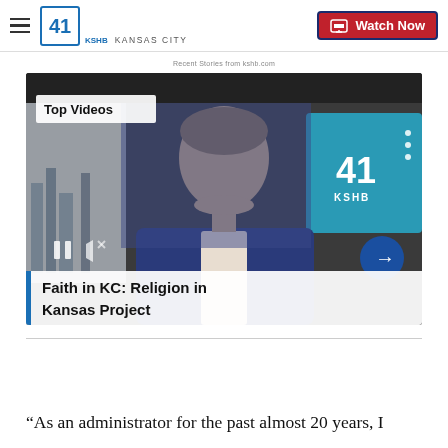41 KSHB KANSAS CITY | Watch Now
Recent Stories from kshb.com
[Figure (screenshot): Video thumbnail showing a male news anchor in a blue suit in a TV studio, with 'Top Videos' badge overlay, KSHB 41 watermark, playback controls, and title overlay reading 'Faith in KC: Religion in Kansas Project']
Faith in KC: Religion in Kansas Project
“As an administrator for the past almost 20 years, I